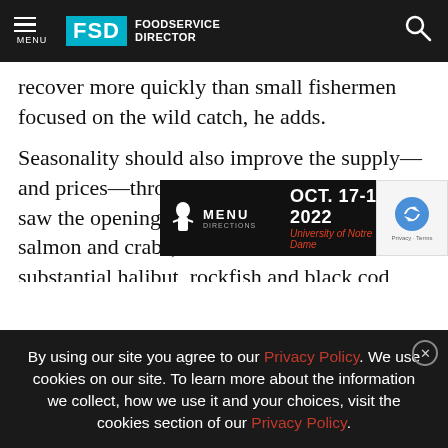FSD FOODSERVICE DIRECTOR
recover more quickly than small fishermen focused on the wild catch, he adds.
Seasonality should also improve the supply—and prices—through the summer. Late spring saw the opening of the season for wild Alaska salmon and crabs, and the continuation of a substantial halibut, rockfish and black cod catch. back i rices
[Figure (infographic): Advertisement banner for Menu Directions event OCT. 17-19, 2022 at University of Notre Dame]
By using our site you agree to our Privacy Policy. We use cookies on our site. To learn more about the information we collect, how we use it and your choices, visit the cookies section of our Privacy Policy.